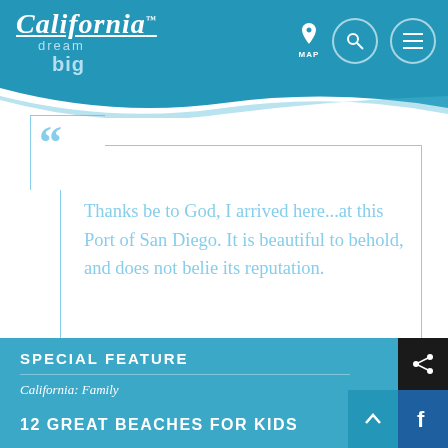California Dream Big — MAP, Search, Menu navigation
Thanks be to God, I arrived here...at this Port of San Diego. It is beautiful to behold, and does not belie its reputation.
— Father Junipero Serra
SPECIAL FEATURE
California: Family
12 GREAT BEACHES FOR KIDS